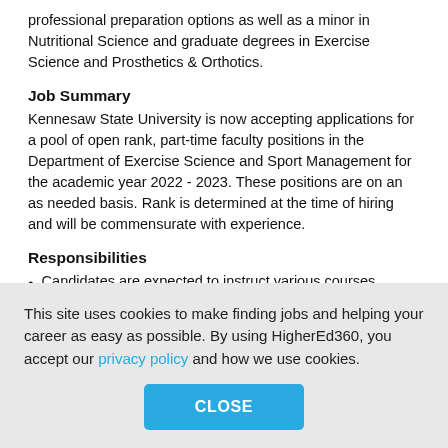professional preparation options as well as a minor in Nutritional Science and graduate degrees in Exercise Science and Prosthetics & Orthotics.
Job Summary
Kennesaw State University is now accepting applications for a pool of open rank, part-time faculty positions in the Department of Exercise Science and Sport Management for the academic year 2022 - 2023. These positions are on an as needed basis. Rank is determined at the time of hiring and will be commensurate with experience.
Responsibilities
Candidates are expected to instruct various courses lecture and laboratory courses in a face to face or an
This site uses cookies to make finding jobs and helping your career as easy as possible. By using HigherEd360, you accept our privacy policy and how we use cookies.
CLOSE